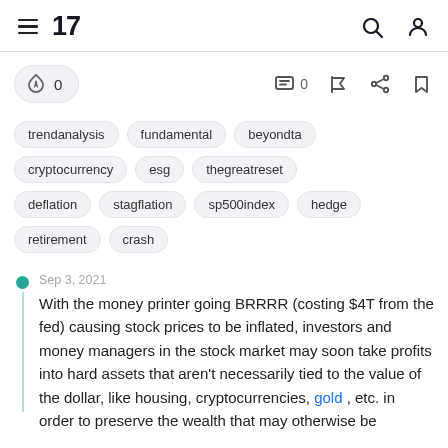TradingView navigation header with hamburger menu, logo, search and user icons
0 boosts, 0 comments, flag, share, bookmark action bar
trendanalysis
fundamental
beyondta
cryptocurrency
esg
thegreatreset
deflation
stagflation
sp500index
hedge
retirement
crash
Sep 3, 2021
With the money printer going BRRRR (costing $4T from the fed) causing stock prices to be inflated, investors and money managers in the stock market may soon take profits into hard assets that aren't necessarily tied to the value of the dollar, like housing, cryptocurrencies, gold , etc. in order to preserve the wealth that may otherwise be